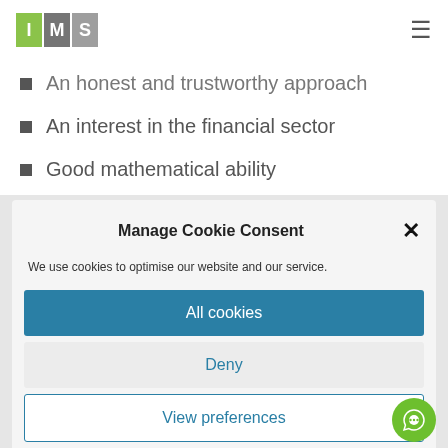IMS logo and navigation
An honest and trustworthy approach
An interest in the financial sector
Good mathematical ability
Manage Cookie Consent
We use cookies to optimise our website and our service.
All cookies
Deny
View preferences